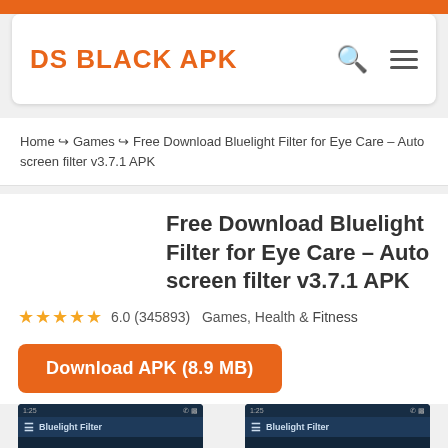DS BLACK APK
Home ↷ Games ↷ Free Download Bluelight Filter for Eye Care – Auto screen filter v3.7.1 APK
Free Download Bluelight Filter for Eye Care – Auto screen filter v3.7.1 APK
★★★★★ 6.0 (345893)  Games, Health & Fitness
Download APK (8.9 MB)
[Figure (screenshot): Two smartphone screenshots showing the Bluelight Filter app interface]